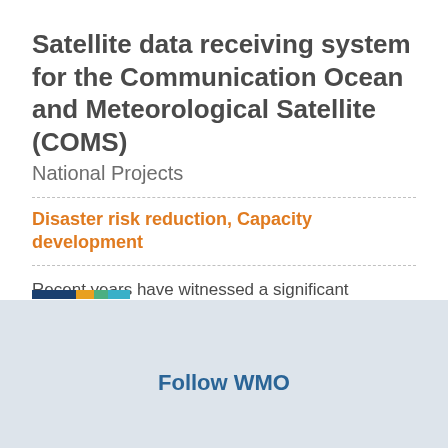Satellite data receiving system for the Communication Ocean and Meteorological Satellite (COMS)
National Projects
Disaster risk reduction, Capacity development
Recent years have witnessed a significant increase in the frequency and intensity of climate and weather related hazards putting development gains at risk. By improving their disaster related information base,...
Follow WMO